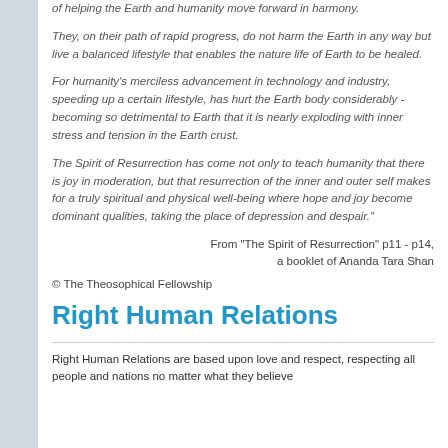of helping the Earth and humanity move forward in harmony.
They, on their path of rapid progress, do not harm the Earth in any way but live a balanced lifestyle that enables the nature life of Earth to be healed.
For humanity's merciless advancement in technology and industry, speeding up a certain lifestyle, has hurt the Earth body considerably - becoming so detrimental to Earth that it is nearly exploding with inner stress and tension in the Earth crust.
The Spirit of Resurrection has come not only to teach humanity that there is joy in moderation, but that resurrection of the inner and outer self makes for a truly spiritual and physical well-being where hope and joy become dominant qualities, taking the place of depression and despair."
From "The Spirit of Resurrection" p11 - p14, a booklet of Ananda Tara Shan
© The Theosophical Fellowship
Right Human Relations
Right Human Relations are based upon love and respect, respecting all people and nations no matter what they believe